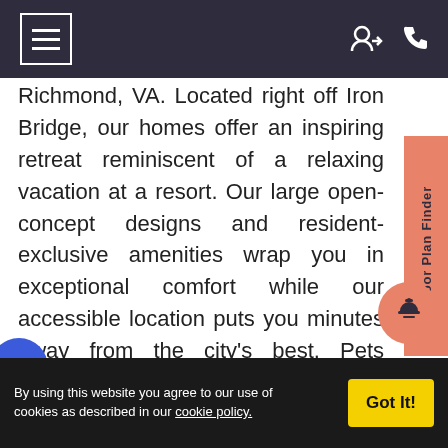Navigation bar with menu icon and user/phone icons
Richmond, VA. Located right off Iron Bridge, our homes offer an inspiring retreat reminiscent of a relaxing vacation at a resort. Our large open-concept designs and resident-exclusive amenities wrap you in exceptional comfort while our accessible location puts you minutes away from the city’s best. Pets allowed!
Whether you are enjoying some downtime inside your North Chesterfield apartment
[Figure (other): Salmon/orange vertical sidebar tab labeled 'Floor Plan Finder' in rotated text]
[Figure (other): Circular salmon/orange button with bell/concierge icon]
[Figure (other): Partially visible blue circle at bottom left]
By using this website you agree to our use of cookies as described in our cookie policy. [Got It! button]